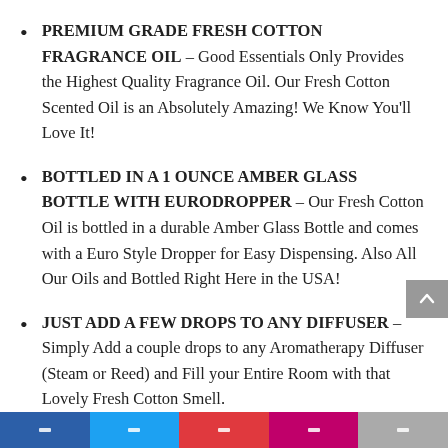PREMIUM GRADE FRESH COTTON FRAGRANCE OIL – Good Essentials Only Provides the Highest Quality Fragrance Oil. Our Fresh Cotton Scented Oil is an Absolutely Amazing! We Know You'll Love It!
BOTTLED IN A 1 OUNCE AMBER GLASS BOTTLE WITH EURODROPPER – Our Fresh Cotton Oil is bottled in a durable Amber Glass Bottle and comes with a Euro Style Dropper for Easy Dispensing. Also All Our Oils and Bottled Right Here in the USA!
JUST ADD A FEW DROPS TO ANY DIFFUSER – Simply Add a couple drops to any Aromatherapy Diffuser (Steam or Reed) and Fill your Entire Room with that Lovely Fresh Cotton Smell.